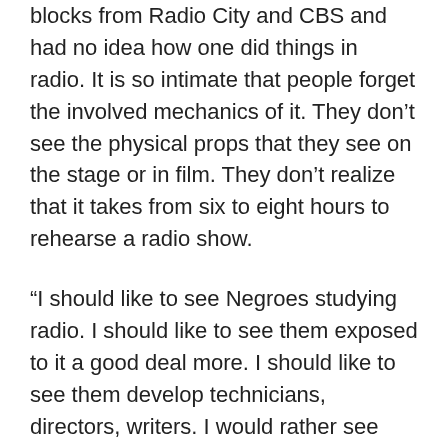blocks from Radio City and CBS and had no idea how one did things in radio. It is so intimate that people forget the involved mechanics of it. They don't see the physical props that they see on the stage or in film. They don't realize that it takes from six to eight hours to rehearse a radio show.
“I should like to see Negroes studying radio. I should like to see them exposed to it a good deal more. I should like to see them develop technicians, directors, writers. I would rather see radio become a first in the lives of talented young Negroes who have musical or histrionic or technical abilities.
“I have encountered less prejudice in this field